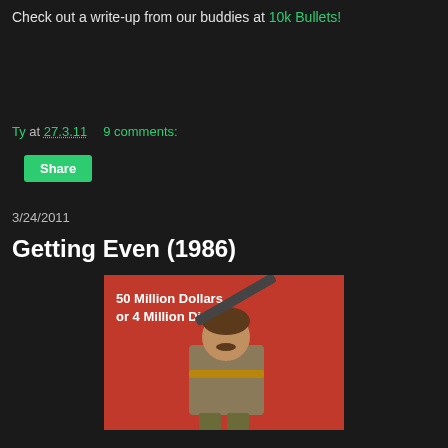Check out a write-up from our buddies at 10k Bullets!
Ty at 27.3.11   9 comments:
Share
3/24/2011
Getting Even (1986)
[Figure (photo): Movie poster for Getting Even (1986) with a red background. Text reads '50 Million Dollars or 4 Million Die.' A man with a mustache holds a weapon over his shoulder.]